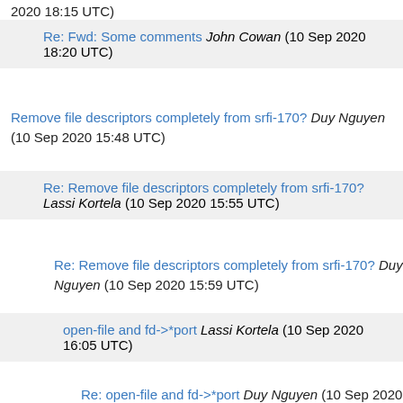2020 18:15 UTC)
Re: Fwd: Some comments John Cowan (10 Sep 2020 18:20 UTC)
Remove file descriptors completely from srfi-170? Duy Nguyen (10 Sep 2020 15:48 UTC)
Re: Remove file descriptors completely from srfi-170? Lassi Kortela (10 Sep 2020 15:55 UTC)
Re: Remove file descriptors completely from srfi-170? Duy Nguyen (10 Sep 2020 15:59 UTC)
open-file and fd->*port Lassi Kortela (10 Sep 2020 16:05 UTC)
Re: open-file and fd->*port Duy Nguyen (10 Sep 2020 16:15 UTC)